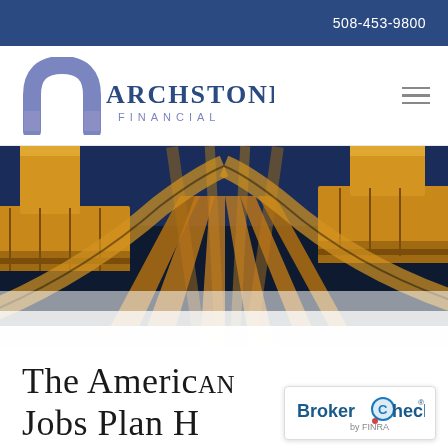508-453-9800
[Figure (logo): Archstone Financial logo with arch icon and company name]
[Figure (photo): Aerial view looking up at golden/orange highway overpass interchange bridges against a dark blue sky at night]
The American Jobs Plan H
[Figure (logo): BrokerCheck by FINRA badge/logo]